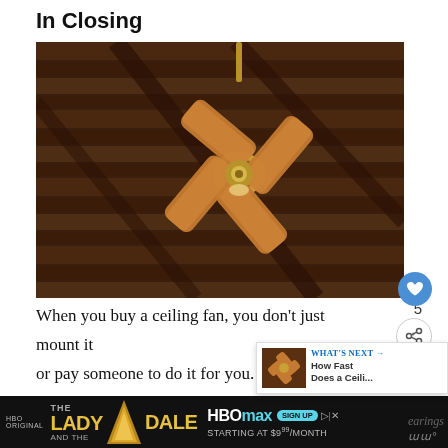In Closing
[Figure (photo): A ceiling fan with four wooden blades mounted on a wooden beam ceiling, viewed from below at an angle. The fan has a brass/gold motor housing.]
When you buy a ceiling fan, you don't just mount it or pay someone to do it for you. You shou after the ceiling fan just like you look after your
[Figure (screenshot): What's Next widget showing thumbnail of a ceiling fan with text 'WHAT'S NEXT → How Fast Does a Ceili...']
[Figure (infographic): HBO Original 'The Lady and the Dale' advertisement with HBOmax sign up starting at $9/month banner ad]